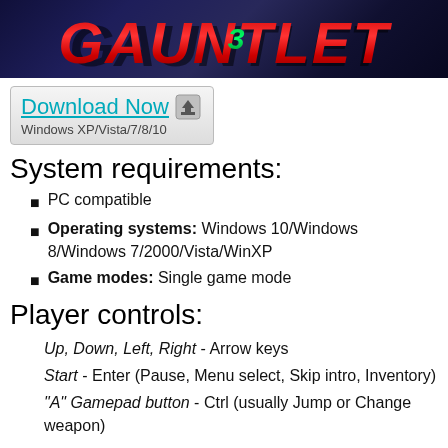[Figure (screenshot): Game title banner with stylized text on dark blue/purple gradient background]
[Figure (screenshot): Download Now button with arrow icon, Windows XP/Vista/7/8/10 label, grey gradient box]
System requirements:
PC compatible
Operating systems: Windows 10/Windows 8/Windows 7/2000/Vista/WinXP
Game modes: Single game mode
Player controls:
Up, Down, Left, Right - Arrow keys
Start - Enter (Pause, Menu select, Skip intro, Inventory)
"A" Gamepad button - Ctrl (usually Jump or Change weapon)